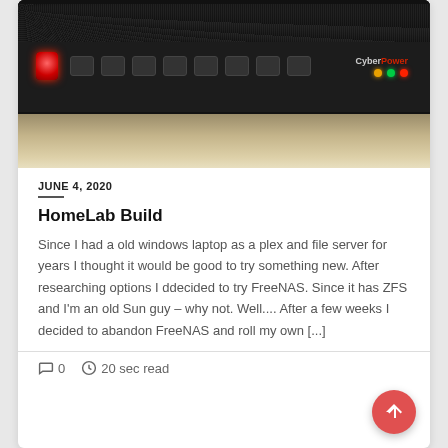[Figure (photo): Photo of a CyberPower rack-mounted UPS unit (black 1U/2U device) with red indicator light on left, a row of ports, amber/green/red LED status lights, and CyberPower branding on the right side. A shelf/wall background is visible below.]
JUNE 4, 2020
HomeLab Build
Since I had a old windows laptop as a plex and file server for years I thought it would be good to try something new. After researching options I ddecided to try FreeNAS. Since it has ZFS and I'm an old Sun guy – why not. Well.... After a few weeks I decided to abandon FreeNAS and roll my own [...]
0   20 sec read